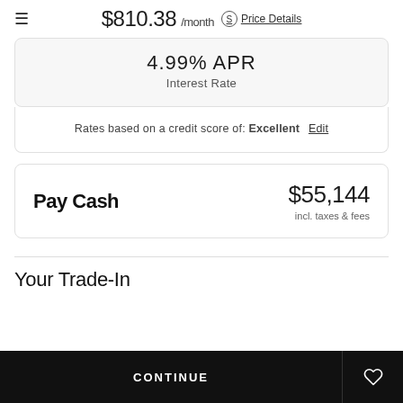$810.38 /month  Price Details
4.99% APR
Interest Rate
Rates based on a credit score of: Excellent  Edit
Pay Cash  $55,144  incl. taxes & fees
Your Trade-In